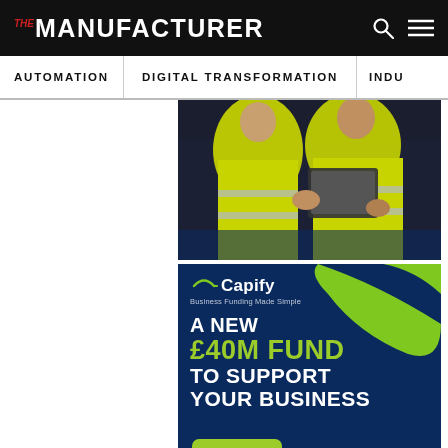THE MANUFACTURER
AUTOMATION   DIGITAL TRANSFORMATION   INDU...
[Figure (photo): Advertisement banner for Capify showing two workers in yellow hi-vis jackets using a laptop. Below the photo on a dark navy background with a green wave graphic: Capify logo with tagline 'Business Funding Made Simple', then bold text 'A NEW £40M FUND TO SUPPORT YOUR BUSINESS'.]